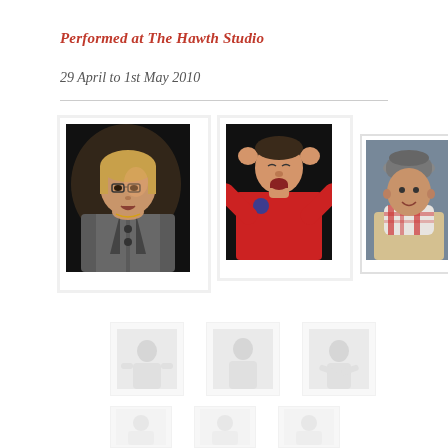Performed at The Hawth Studio
29 April to 1st May 2010
[Figure (photo): Three performance photos from The Hawth Studio show: (1) Woman with glasses in grey jacket performing on dark stage, (2) Man in red polo shirt with hands on head performing on dark stage, (3) Man in beige jacket and plaid scarf performing]
[Figure (photo): Three small faded thumbnail photos of performers, partially visible]
[Figure (photo): Three very small faded thumbnail photos of performers at bottom of page, partially visible]